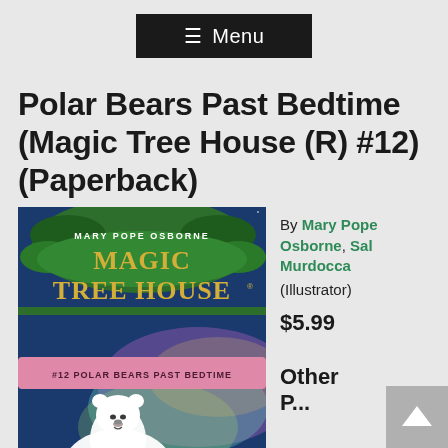☰ Menu
Polar Bears Past Bedtime (Magic Tree House (R) #12) (Paperback)
[Figure (illustration): Book cover of Magic Tree House #12 Polar Bears Past Bedtime by Mary Pope Osborne, featuring a white polar bear against a colorful northern lights sky, with green foliage and the series/title in decorative lettering on a dark green background with a pink banner.]
By Mary Pope Osborne, Sal Murdocca (Illustrator)
$5.99
Other